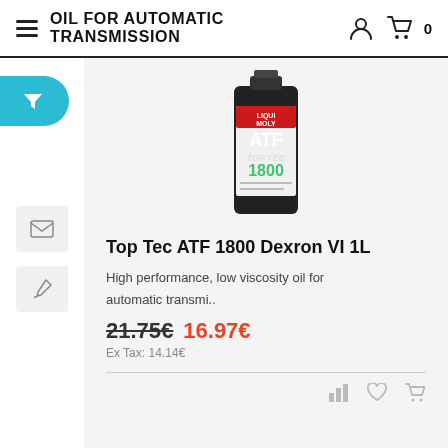OIL FOR AUTOMATIC TRANSMISSION
[Figure (photo): Liqui Moly ATF Top Tec 1800 1L bottle product image on light grey background]
Top Tec ATF 1800 Dexron VI 1L
High performance, low viscosity oil for automatic transmi..
21.75€ 16.97€
Ex Tax: 14.14€